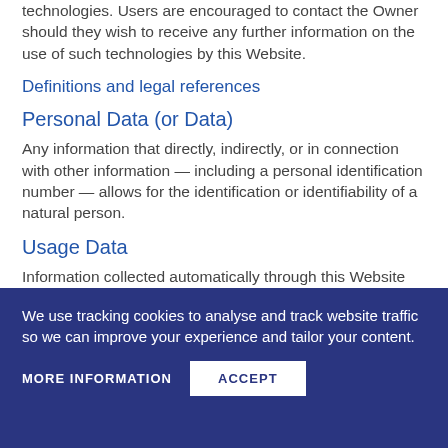technologies. Users are encouraged to contact the Owner should they wish to receive any further information on the use of such technologies by this Website.
Definitions and legal references
Personal Data (or Data)
Any information that directly, indirectly, or in connection with other information — including a personal identification number — allows for the identification or identifiability of a natural person.
Usage Data
Information collected automatically through this Website (or third-party services employed in this Website), which can include: the IP addresses or domain names of the computers utilized by the Users
We use tracking cookies to analyse and track website traffic so we can improve your experience and tailor your content.
MORE INFORMATION    ACCEPT